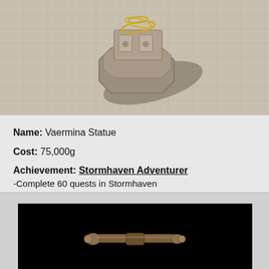[Figure (photo): 3D game screenshot of a stone Vaermina Statue on a tiled courtyard floor, viewed from above at an angle. The statue is an octagonal stone structure with carved details and golden rings at the top. Shadow visible on the paving stones.]
Name: Vaermina Statue
Cost: 75,000g
Achievement: Stormhaven Adventurer
-Complete 60 quests in Stormhaven
[Figure (photo): 3D game screenshot of a small metallic/bronze object (appears to be a weapon or tool) displayed against a black background.]